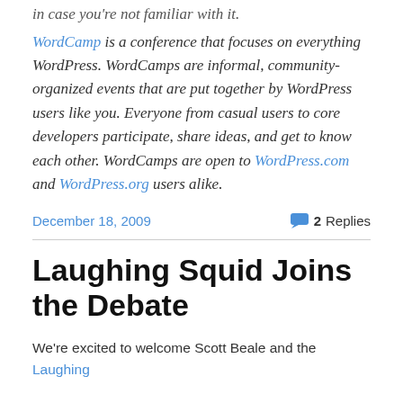in case you're not familiar with it.
WordCamp is a conference that focuses on everything WordPress. WordCamps are informal, community-organized events that are put together by WordPress users like you. Everyone from casual users to core developers participate, share ideas, and get to know each other. WordCamps are open to WordPress.com and WordPress.org users alike.
December 18, 2009
2 Replies
Laughing Squid Joins the Debate
We're excited to welcome Scott Beale and the Laughing